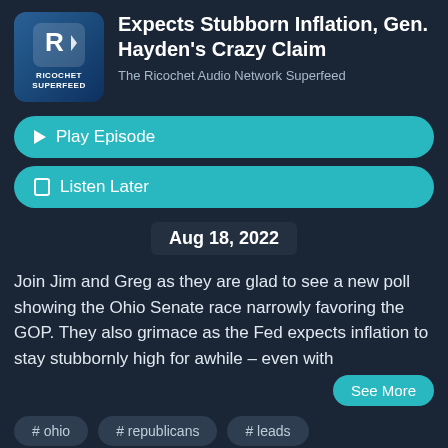[Figure (logo): Ricochet Superfeed podcast logo with R icon on blue background]
Expects Stubborn Inflation, Gen. Hayden's Crazy Claim
The Ricochet Audio Network Superfeed
▶ Play Episode
☐ Listen Later
Aug 18, 2022
Join Jim and Greg as they are glad to see a new poll showing the Ohio Senate race narrowly favoring the GOP. They also grimace as the Fed expects inflation to stay stubbornly high for awhile – even with
See More
# ohio
# republicans
# leads